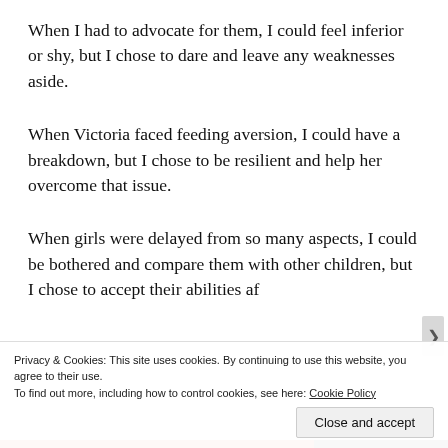When I had to advocate for them, I could feel inferior or shy, but I chose to dare and leave any weaknesses aside.
When Victoria faced feeding aversion, I could have a breakdown, but I chose to be resilient and help her overcome that issue.
When girls were delayed from so many aspects, I could be bothered and compare them with other children, but I chose to accept their abilities and f…
Privacy & Cookies: This site uses cookies. By continuing to use this website, you agree to their use.
To find out more, including how to control cookies, see here: Cookie Policy
Close and accept